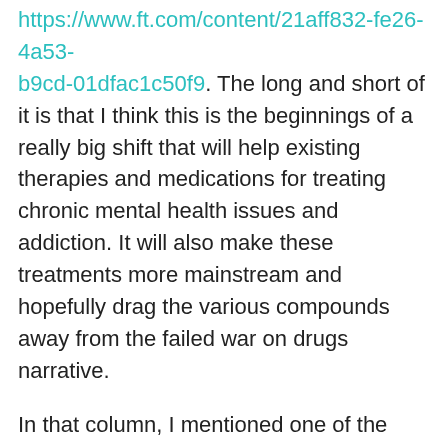https://www.ft.com/content/21aff832-fe26-4a53-b9cd-01dfac1c50f9. The long and short of it is that I think this is the beginnings of a really big shift that will help existing therapies and medications for treating chronic mental health issues and addiction. It will also make these treatments more mainstream and hopefully drag the various compounds away from the failed war on drugs narrative.
In that column, I mentioned one of the less high-profile players in this space called Cybin – another Canadian-listed firm. This week analysts at Ocean Wall – whose report I mentioned in my column – added a bit more detail on this relatively new firm (founded 2019) which is developing psychedelic therapies by utilizing proprietary drug discovery platforms. It went public in November 2020 and